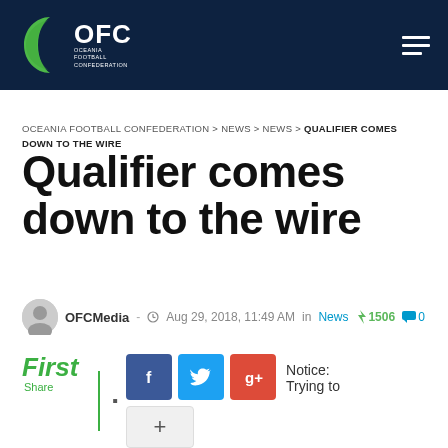OFC OCEANIA FOOTBALL CONFEDERATION
OCEANIA FOOTBALL CONFEDERATION > NEWS > NEWS > QUALIFIER COMES DOWN TO THE WIRE
Qualifier comes down to the wire
OFCMedia - Aug 29, 2018, 11:49 AM in News ⚡ 1506 💬 0
First Share Notice: Trying to